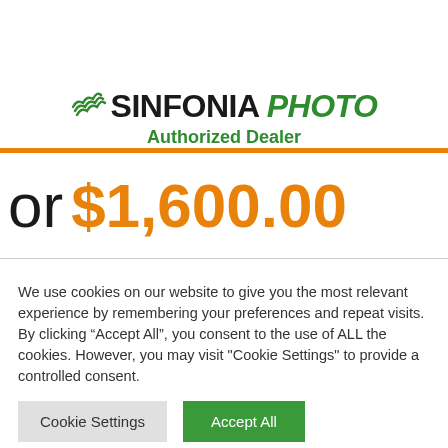[Figure (logo): Sinfonia Photo Authorized Dealer logo with green wave icon, black SINFONIA text, green italic PHOTO text, and green bold Authorized Dealer subtitle]
or $1,600.00
We use cookies on our website to give you the most relevant experience by remembering your preferences and repeat visits. By clicking “Accept All”, you consent to the use of ALL the cookies. However, you may visit "Cookie Settings" to provide a controlled consent.
Cookie Settings
Accept All